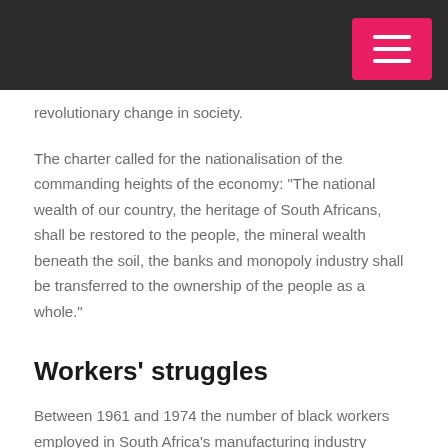revolutionary change in society.
The charter called for the nationalisation of the commanding heights of the economy: "The national wealth of our country, the heritage of South Africans, shall be restored to the people, the mineral wealth beneath the soil, the banks and monopoly industry shall be transferred to the ownership of the people as a whole."
Workers' struggles
Between 1961 and 1974 the number of black workers employed in South Africa's manufacturing industry doubled.
It was the explosion of the organised working class onto the scene, carrying on the banner of the dockworkers'